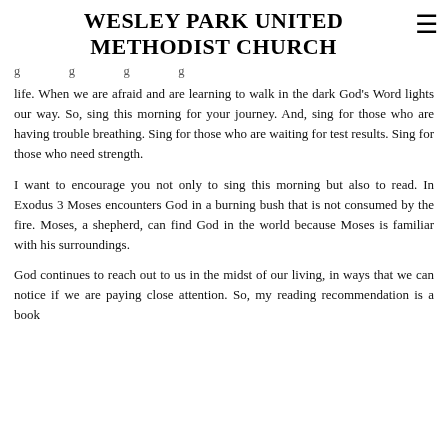WESLEY PARK UNITED METHODIST CHURCH
g g g g g life.  When we are afraid and are learning to walk in the dark God's Word lights our way.  So, sing this morning for your journey.  And, sing for those who are having trouble breathing.  Sing for those who are waiting for test results.  Sing for those who need strength.
I want to encourage you not only to sing this morning but also to read.   In Exodus 3 Moses encounters God in a burning bush that is not consumed by the fire.  Moses, a shepherd, can find God in the world because Moses is familiar with his surroundings.
God continues to reach out to us in the midst of our living, in ways that we can notice if we are paying close attention.  So, my reading recommendation is a book